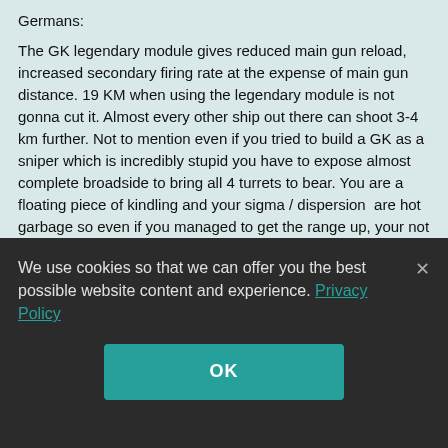Germans:

The GK legendary module gives reduced main gun reload, increased secondary firing rate at the expense of main gun distance. 19 KM when using the legendary module is not gonna cut it. Almost every other ship out there can shoot 3-4 km further. Not to mention even if you tried to build a GK as a sniper which is incredibly stupid you have to expose almost complete broadside to bring all 4 turrets to bear. You are a floating piece of kindling and your sigma / dispersion  are hot garbage so even if you managed to get the range up, your not gonna be able to content with ships like Yamato, Thunderer, Conq, Bourgone, etc... in distance gunfights.
So the solution...
We use cookies so that we can offer you the best possible website content and experience. Privacy Policy
OK